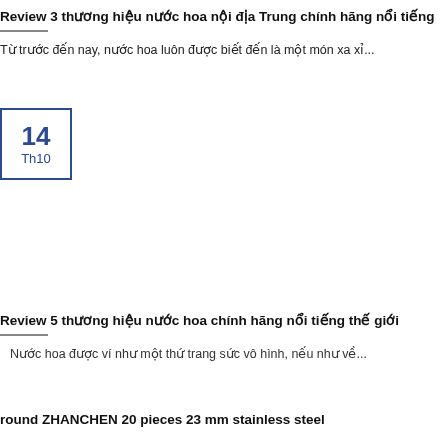Review 3 thương hiệu nước hoa nội địa Trung chính hãng nổi tiếng
Từ trước đến nay, nước hoa luôn được biết đến là một món xa xỉ...
14
Th10
Review 5 thương hiệu nước hoa chính hãng nổi tiếng thế giới
Nước hoa được ví như một thứ trang sức vô hình, nếu như về...
round ZHANCHEN 20 pieces 23 mm stainless steel